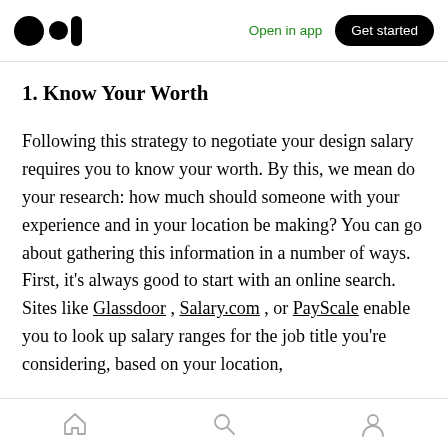Open in app | Get started
1. Know Your Worth
Following this strategy to negotiate your design salary requires you to know your worth. By this, we mean do your research: how much should someone with your experience and in your location be making? You can go about gathering this information in a number of ways. First, it's always good to start with an online search. Sites like Glassdoor , Salary.com , or PayScale enable you to look up salary ranges for the job title you're considering, based on your location,
home | search | profile